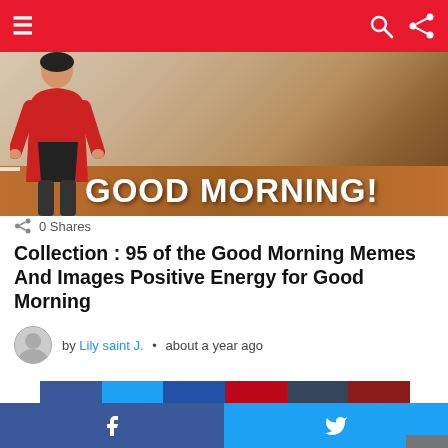Navigation bar with menu, search, and share icons
[Figure (photo): Hero image showing a person in a red jacket with 'GOOD MORNING!' text overlay on a room background]
0 Shares
Collection : 95 of the Good Morning Memes And Images Positive Energy for Good Morning
by Lily saint J. • about a year ago
[Figure (infographic): Social media share buttons row: Facebook (blue), Twitter (light blue), Flickr (dark blue), Pinterest (red), Tumblr (dark blue), YouTube (dark red)]
Facebook and Twitter share buttons at bottom